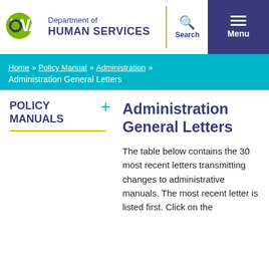Iowa Department of Human Services
Home » Policy Manual » Administration » Administration General Letters
POLICY MANUALS
Administration General Letters
The table below contains the 30 most recent letters transmitting changes to administrative manuals.  The most recent letter is listed first.  Click on the